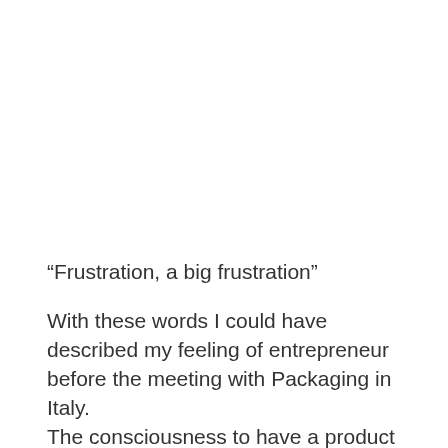“Frustration, a big frustration”
With these words I could have described my feeling of entrepreneur before the meeting with Packaging in Italy. The consciousness to have a product with big potentiality but difficult to communicate, to be